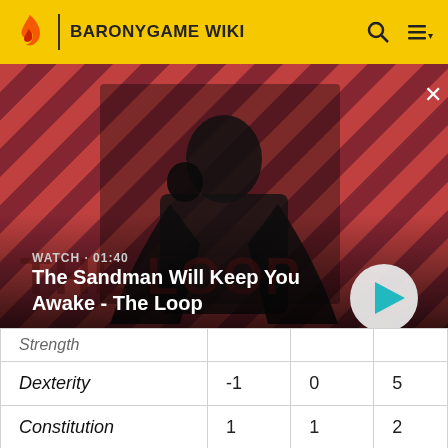BARONYGAME WIKI
[Figure (screenshot): Video thumbnail showing a dark-cloaked figure with a raven, on a red diagonal-striped background. Text overlay: WATCH · 01:40 / The Sandman Will Keep You Awake - The Loop. Play button visible bottom-right.]
| Strength |  |  |  |
| Dexterity | -1 | 0 | 5 |
| Constitution | 1 | 1 | 2 |
| Intelligence | -1 | -1 | 2 |